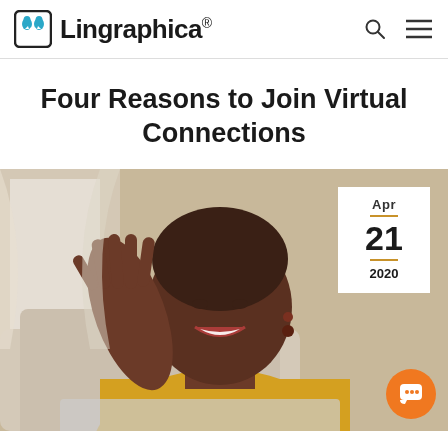Lingraphica®
Four Reasons to Join Virtual Connections
[Figure (photo): An older Black woman with short hair, wearing yellow top and beaded earrings, smiling and waving at a laptop screen as if on a video call, seated on a couch. An overlaid date badge shows Apr 21 2020. An orange chat button appears in the bottom right corner.]